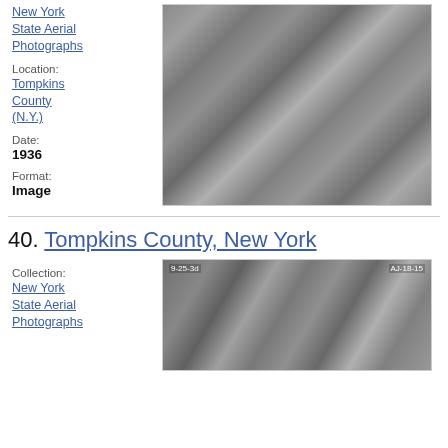New York State Aerial Photographs
Location:
Tompkins County (N.Y.)
Date:
1936
Format:
Image
[Figure (photo): Black and white aerial photograph of Tompkins County, New York, showing farmland and terrain patterns from above.]
40. Tompkins County, New York
Collection:
New York State Aerial Photographs
[Figure (photo): Black and white aerial photograph labeled 9-25-3d and AJ-18-15, showing terrain and land parcels from above.]